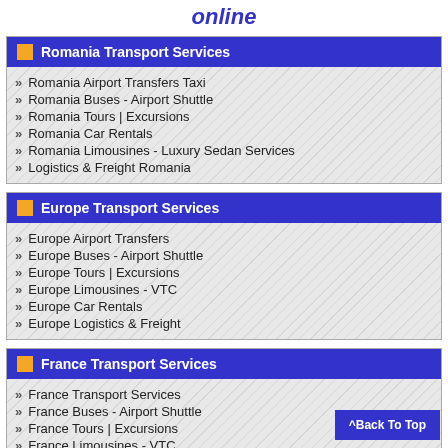online
Romania Transport Services
Romania Airport Transfers Taxi
Romania Buses - Airport Shuttle
Romania Tours | Excursions
Romania Car Rentals
Romania Limousines - Luxury Sedan Services
Logistics & Freight Romania
Europe Transport Services
Europe Airport Transfers
Europe Buses - Airport Shuttle
Europe Tours | Excursions
Europe Limousines - VTC
Europe Car Rentals
Europe Logistics & Freight
France Transport Services
France Transport Services
France Buses - Airport Shuttle
France Tours | Excursions
France Limousines - VTC
France Car Rentals
Logistics & Freight Shipping France